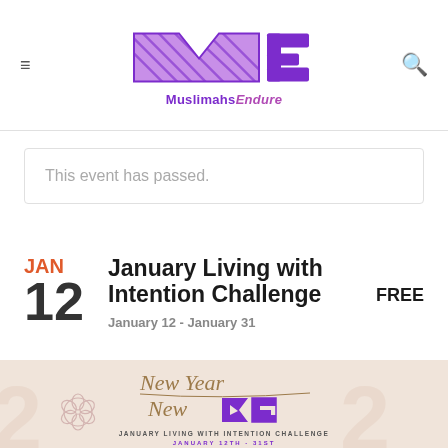MuslimahsEndure logo with hamburger menu and search icon
This event has passed.
JAN 12
January Living with Intention Challenge
FREE
January 12 - January 31
[Figure (illustration): Promotional banner for January Living with Intention Challenge with text 'New Year New ME' in cursive and purple logo, subtitle 'JANUARY LIVING WITH INTENTION CHALLENGE JANUARY 12TH - 31ST', light beige background with '2022' watermark and floral design]